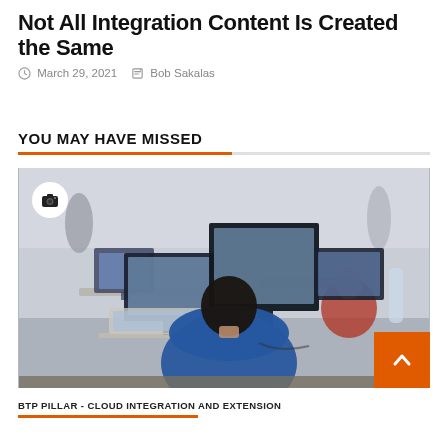Not All Integration Content Is Created the Same
March 29, 2021   Bob Sakalas
YOU MAY HAVE MISSED
[Figure (photo): Office scene with a person in a blue shirt viewed from behind, working at multiple computer monitors. Other office workers visible in the background. A camera badge icon is overlaid in the upper left corner of the image.]
BTP PILLAR - CLOUD INTEGRATION AND EXTENSION